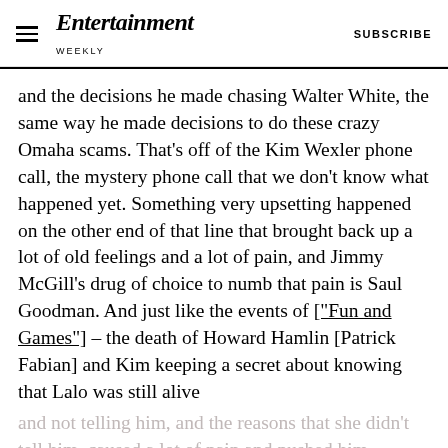Entertainment Weekly | SUBSCRIBE
and the decisions he made chasing Walter White, the same way he made decisions to do these crazy Omaha scams. That's off of the Kim Wexler phone call, the mystery phone call that we don't know what happened yet. Something very upsetting happened on the other end of that line that brought back up a lot of old feelings and a lot of pain, and Jimmy McGill's drug of choice to numb that pain is Saul Goodman. And just like the events of ["Fun and Games"] – the death of Howard Hamlin [Patrick Fabian] and Kim keeping a secret about knowing that Lalo was still alive
and not telling him, and the reasons that she didn't tell him, caused a lot of pain and pushed him